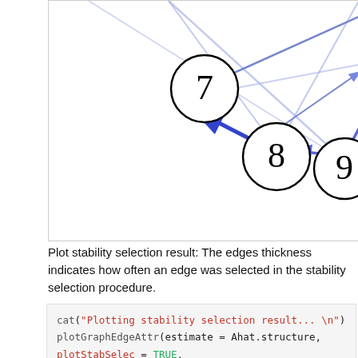[Figure (network-graph): Partial network graph showing nodes labeled 7, 8, 9 with directed blue arrows (edges) connecting them. Edges vary in thickness indicating stability selection frequency. Several crossing arrows visible between nodes.]
Plot stability selection result: The edges thickness indicates how often an edge was selected in the stability selection procedure.
cat("Plotting stability selection result... \n")
plotGraphEdgeAttr(estimate = Ahat.structure,
plotStabSelec = TRUE,
                        labels = colnames(A), thres.point = thres.pe,
                        edgeWeights = Ahat, thres.stab =